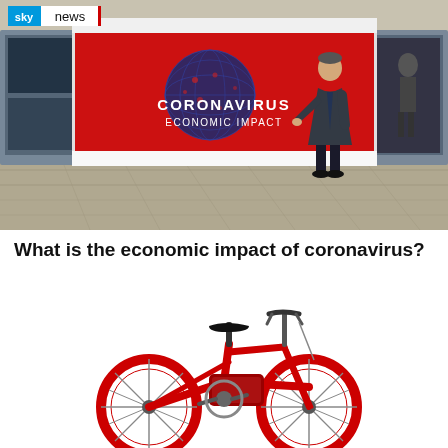[Figure (screenshot): Sky News broadcast screenshot showing a TV news studio with a large red screen displaying 'CORONAVIRUS ECONOMIC IMPACT' text over a globe graphic, with a male presenter standing to the right. Sky News logo visible in top-left corner.]
What is the economic impact of coronavirus?
[Figure (photo): Red electric bicycle / e-bike shown in profile view against a white background.]